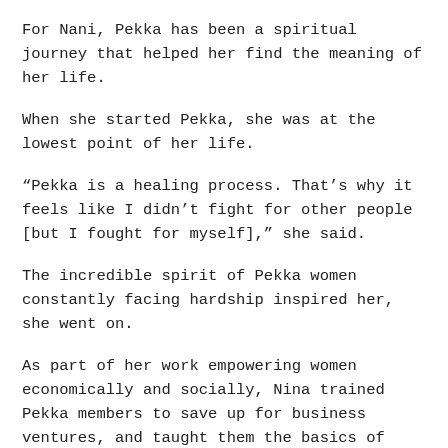For Nani, Pekka has been a spiritual journey that helped her find the meaning of her life.
When she started Pekka, she was at the lowest point of her life.
“Pekka is a healing process. That’s why it feels like I didn’t fight for other people [but I fought for myself],” she said.
The incredible spirit of Pekka women constantly facing hardship inspired her, she went on.
As part of her work empowering women economically and socially, Nina trained Pekka members to save up for business ventures, and taught them the basics of micro-financing.